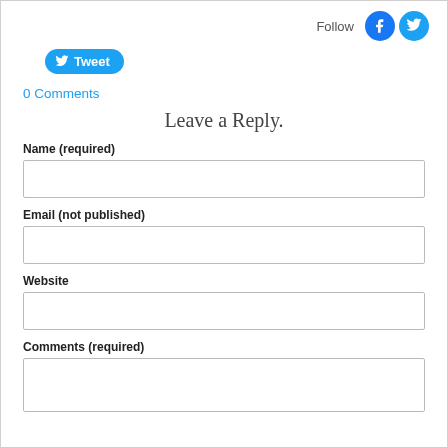Follow
[Figure (logo): Tweet button with Twitter bird icon, blue rounded pill shape]
0 Comments
Leave a Reply.
Name (required)
Email (not published)
Website
Comments (required)